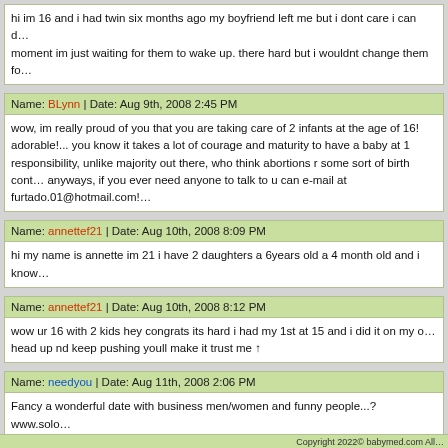hi im 16 and i had twin six months ago my boyfriend left me but i dont care i can d… moment im just waiting for them to wake up. there hard but i wouldnt change them fo…
Name: BLynn | Date: Aug 9th, 2008 2:45 PM
wow, im really proud of you that you are taking care of 2 infants at the age of 16! adorable!... you know it takes a lot of courage and maturity to have a baby at 1 responsibility, unlike majority out there, who think abortions r some sort of birth cont anyways, if you ever need anyone to talk to u can e-mail at furtado.01@hotmail.com!
Name: annettef21 | Date: Aug 10th, 2008 8:09 PM
hi my name is annette im 21 i have 2 daughters a 6years old a 4 month old and i know…
Name: annettef21 | Date: Aug 10th, 2008 8:12 PM
wow ur 16 with 2 kids hey congrats its hard i had my 1st at 15 and i did it on my o… head up nd keep pushing youll make it trust me ↑
Name: needyou | Date: Aug 11th, 2008 2:06 PM
Fancy a wonderful date with business men/women and funny people...? www.solo… personal chemic ads... start your search, have fun with these interesting singles/non-si…
Copyright 2022© babymed.com All…